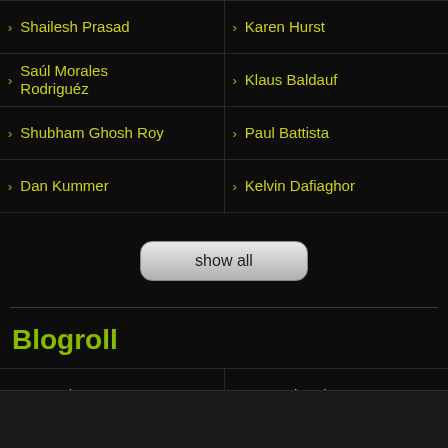Shailesh Prasad
Karen Hurst
Saúl Morales Rodriguéz
Klaus Baldauf
Shubham Ghosh Roy
Paul Battista
Dan Kummer
Kelvin Dafiaghor
show all
Blogroll
Geroscience
Longevity Blog
Mr Futurist
Next Big Future
Plausible Futures
SingularityHUB